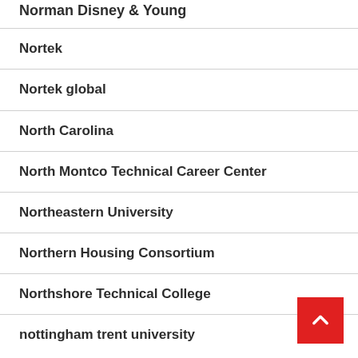Norman Disney & Young
Nortek
Nortek global
North Carolina
North Montco Technical Career Center
Northeastern University
Northern Housing Consortium
Northshore Technical College
nottingham trent university